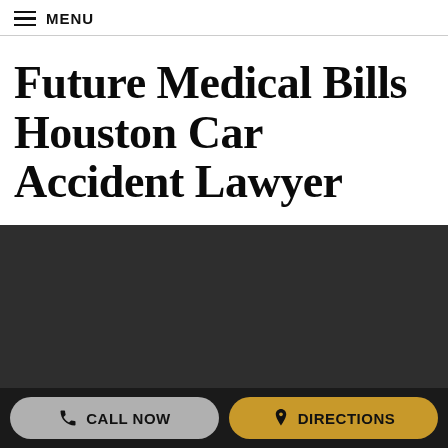MENU
Future Medical Bills Houston Car Accident Lawyer
[Figure (photo): Dark/black image area, likely a photo of a lawyer or legal scene, not fully visible]
CALL NOW   DIRECTIONS